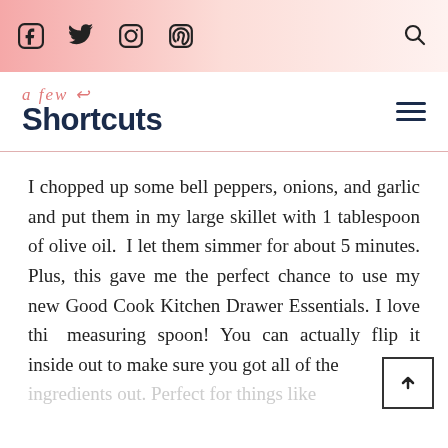Social icons: Facebook, Twitter, Instagram, Pinterest; Search icon
a few Shortcuts
I chopped up some bell peppers, onions, and garlic and put them in my large skillet with 1 tablespoon of olive oil.  I let them simmer for about 5 minutes. Plus, this gave me the perfect chance to use my new Good Cook Kitchen Drawer Essentials. I love this measuring spoon! You can actually flip it inside out to make sure you got all of the ingredients out. Perfect for things like